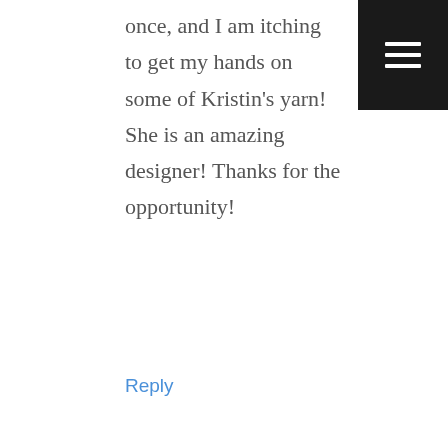once, and I am itching to get my hands on some of Kristin's yarn! She is an amazing designer! Thanks for the opportunity!
Reply
[Figure (illustration): Gray placeholder avatar image showing silhouette of a person with circular head and rounded body shape]
melissa c. says
FEBRUARY 8, 2015 AT 8:45 AM
I love listening to you and Kristin talk,